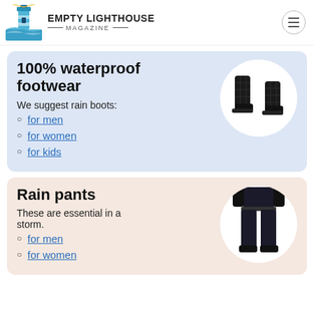EMPTY LIGHTHOUSE MAGAZINE
100% waterproof footwear
We suggest rain boots:
for men
for women
for kids
[Figure (photo): Black quilted rain boots on white circular background]
Rain pants
These are essential in a storm.
for men
for women
[Figure (photo): Person wearing black rain pants on white circular background]